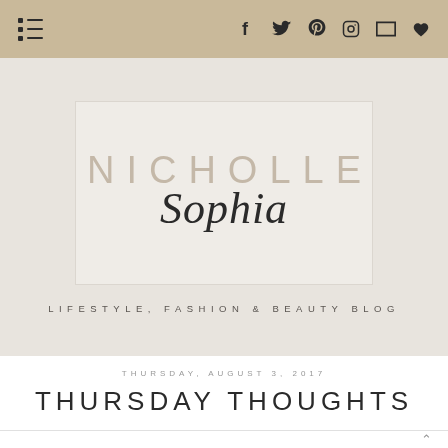Navigation bar with menu icon and social icons: f (Facebook), Twitter, Pinterest, Instagram, email, heart
[Figure (logo): Blog logo with NICHOLLE in large light uppercase letters and Sophia in cursive italic script below, inside a light beige rectangle]
LIFESTYLE, FASHION & BEAUTY BLOG
THURSDAY, AUGUST 3, 2017
THURSDAY THOUGHTS